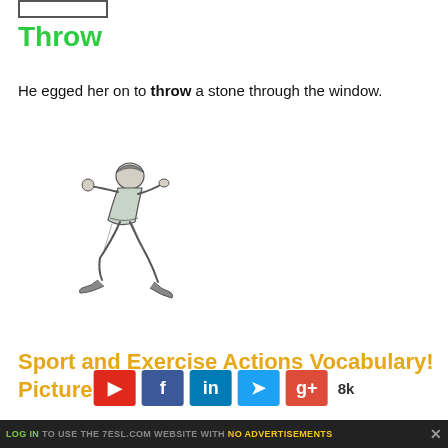[Figure (illustration): Small cropped image of a UI element at top of page]
Throw
He egged her on to throw a stone through the window.
[Figure (illustration): Line drawing illustration of a baseball player in throwing pose, wearing cap and uniform, mid-throw motion]
Sport and Exercise Actions Vocabulary! Picture
[Figure (infographic): Social share buttons: Pinterest (red), Facebook (dark blue), LinkedIn (mid blue), Twitter (light blue), Google+ (orange-red), share count 8k]
LOG IN TO USE THE 7ESL.COM WEBSITE WITH NO ADVERTISEMENTS